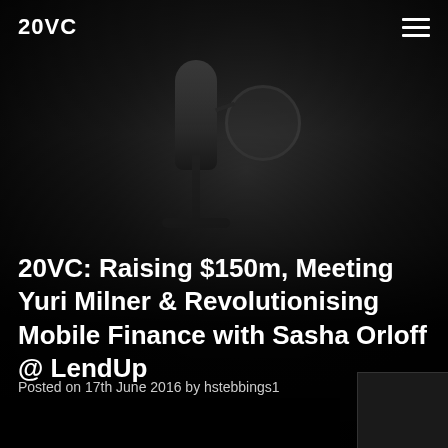20VC
[Figure (photo): Dark background photo of a studio microphone with pop filter, moody low-key lighting]
20VC: Raising $150m, Meeting Yuri Milner & Revolutionising Mobile Finance with Sasha Orloff @ LendUp
Posted on 17th June 2016 by hstebbings1